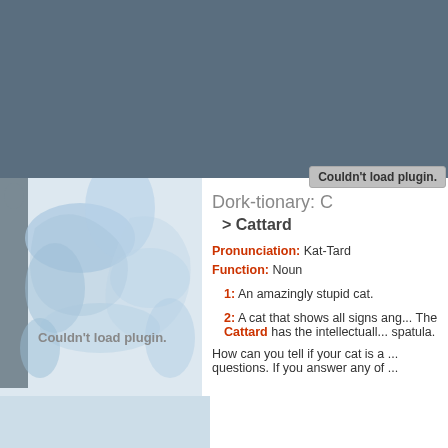[Figure (other): Dark gray-blue banner at the top of the page, plugin error area]
Couldn't load plugin.
[Figure (illustration): Left panel with blue watercolor splatter illustration and dark silhouette figure on white/light blue background. Shows 'Couldn't load plugin.' text overlay.]
Dork-tionary: C
> Cattard
Pronunciation: Kat-Tard
Function: Noun
1: An amazingly stupid cat.
2: A cat that shows all signs and... The Cattard has the intellectual... spatula.
How can you tell if your cat is a ... questions. If you answer any of ...